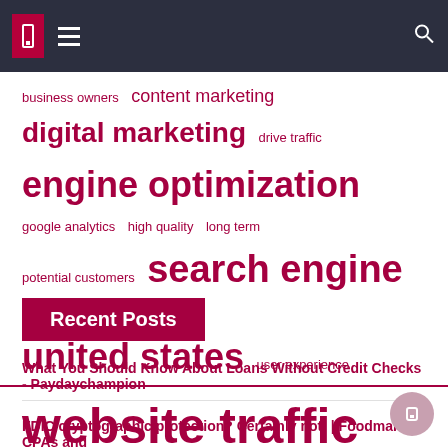[Figure (infographic): Tag cloud with terms related to digital marketing and web traffic in varying font sizes and bold weights, all in dark red/crimson color. Terms include: business owners, content marketing, digital marketing, drive traffic, engine optimization, google analytics, high quality, long term, potential customers, search engine, traffic website, united states, user experience, website traffic, web traffic]
Recent Posts
What You Should Know About Loans Without Credit Checks - Paydaychampion
FDIC cryptographic protection? Certainly not! | Foodman CPAs and